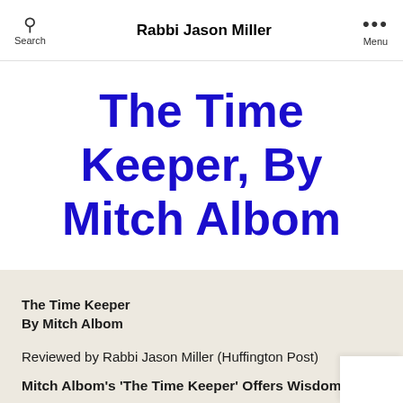Rabbi Jason Miller
The Time Keeper, By Mitch Albom
The Time Keeper
By Mitch Albom
Reviewed by Rabbi Jason Miller (Huffington Post)
Mitch Albom's 'The Time Keeper' Offers Wisdom